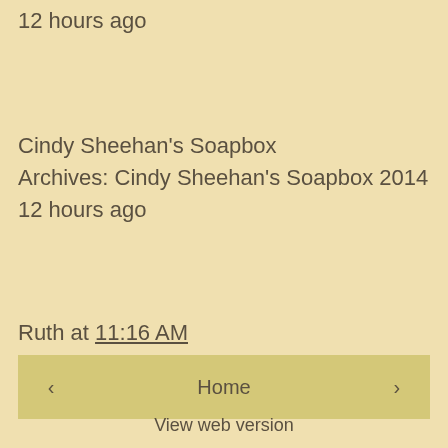12 hours ago
Cindy Sheehan's Soapbox
Archives: Cindy Sheehan's Soapbox 2014
12 hours ago
Ruth at 11:16 AM
< Home >
View web version
About Me
Ruth
View my complete profile
Powered by Blogger.